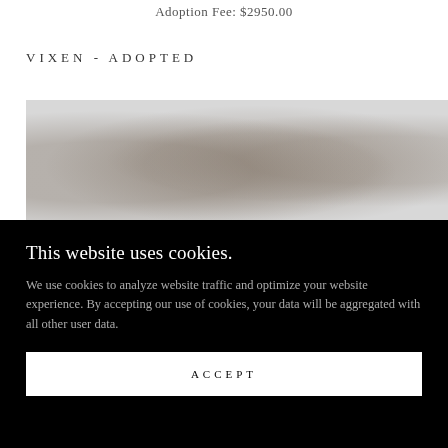Adoption Fee: $2950.00
VIXEN - ADOPTED
[Figure (photo): Faded grayscale photograph of one or more animals (dogs), partially visible behind a cookie consent overlay]
This website uses cookies.
We use cookies to analyze website traffic and optimize your website experience. By accepting our use of cookies, your data will be aggregated with all other user data.
ACCEPT